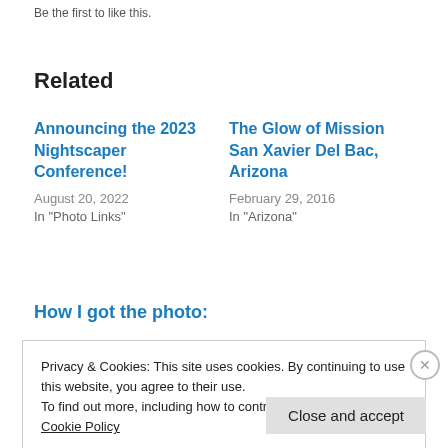Be the first to like this.
Related
Announcing the 2023 Nightscaper Conference!
August 20, 2022
In "Photo Links"
The Glow of Mission San Xavier Del Bac, Arizona
February 29, 2016
In "Arizona"
How I got the photo:
Privacy & Cookies: This site uses cookies. By continuing to use this website, you agree to their use.
To find out more, including how to control cookies, see here: Cookie Policy
Close and accept